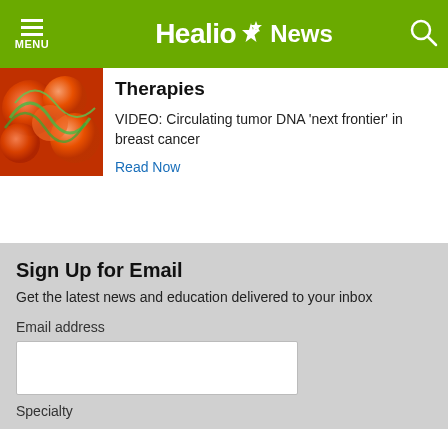MENU | Healio News
Therapies
VIDEO: Circulating tumor DNA ‘next frontier’ in breast cancer
Read Now
Sign Up for Email
Get the latest news and education delivered to your inbox
Email address
Specialty